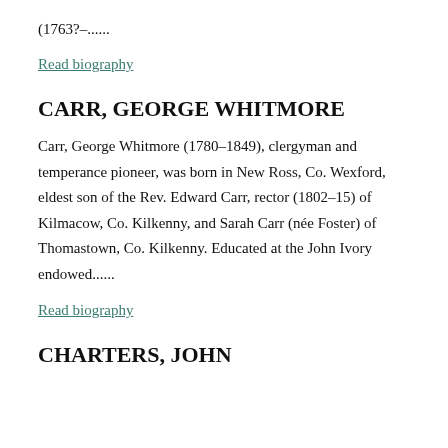(1765?–......
Read biography
CARR, GEORGE WHITMORE
Carr, George Whitmore (1780–1849), clergyman and temperance pioneer, was born in New Ross, Co. Wexford, eldest son of the Rev. Edward Carr, rector (1802–15) of Kilmacow, Co. Kilkenny, and Sarah Carr (née Foster) of Thomastown, Co. Kilkenny. Educated at the John Ivory endowed......
Read biography
CHARTERS, JOHN